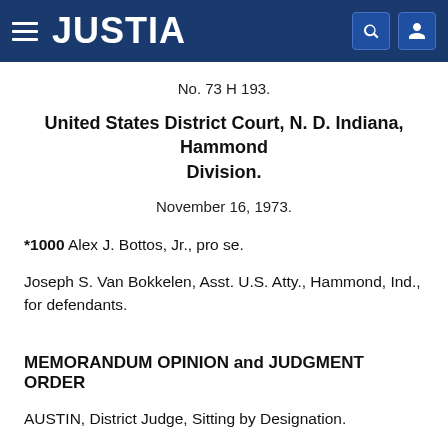JUSTIA
No. 73 H 193.
United States District Court, N. D. Indiana, Hammond Division.
November 16, 1973.
*1000 Alex J. Bottos, Jr., pro se.
Joseph S. Van Bokkelen, Asst. U.S. Atty., Hammond, Ind., for defendants.
MEMORANDUM OPINION and JUDGMENT ORDER
AUSTIN, District Judge, Sitting by Designation.